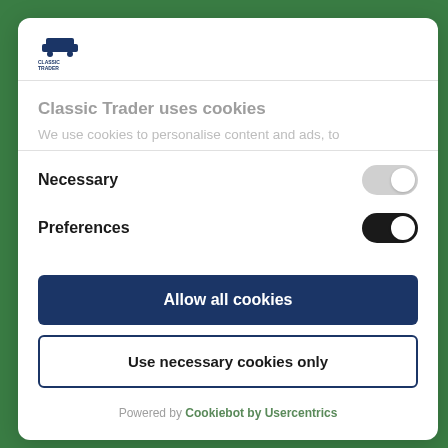[Figure (logo): Classic Trader logo with blue car icon above text CLASSIC TRADER]
Classic Trader uses cookies
We use cookies to personalise content and ads, to
Necessary
Preferences
Allow all cookies
Use necessary cookies only
Powered by Cookiebot by Usercentrics